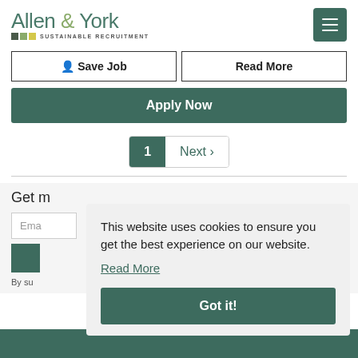[Figure (logo): Allen & York Sustainable Recruitment logo with colored squares]
Save Job
Read More
Apply Now
1  Next ›
Get m...
Email...
By su...
This website uses cookies to ensure you get the best experience on our website.
Read More
Got it!